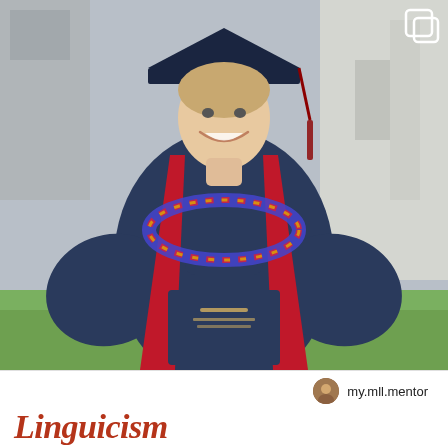[Figure (photo): A young man in a navy blue graduation gown and cap, wearing a red stole, colorful beaded lei, and holding a navy diploma cover. He is smiling and standing outdoors on grass with a building in the background.]
my.mll.mentor
Linguicism